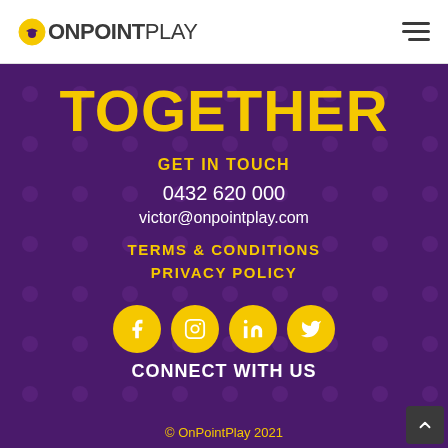[Figure (logo): OnPointPlay logo with yellow circle icon and text]
[Figure (other): Hamburger menu icon (three horizontal lines)]
TOGETHER
GET IN TOUCH
0432 620 000
victor@onpointplay.com
TERMS & CONDITIONS
PRIVACY POLICY
[Figure (other): Social media icons: Facebook, Instagram, LinkedIn, Twitter in yellow circles]
CONNECT WITH US
© OnPointPlay 2021